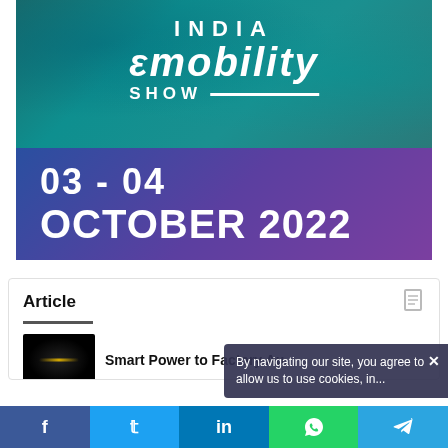[Figure (illustration): India eMobility Show banner. Top half has teal/dark teal background with people in background and white logo reading 'INDIA eMobility SHOW'. Bottom half has purple/blue gradient background with white bold text '03 - 04 OCTOBER 2022'.]
Article
[Figure (photo): Small thumbnail image showing dark circular object with yellow/gold lines, presumably related to factory automation article.]
Smart Power to Factory Au...
By navigating our site, you agree to allow us to use cookies, in...